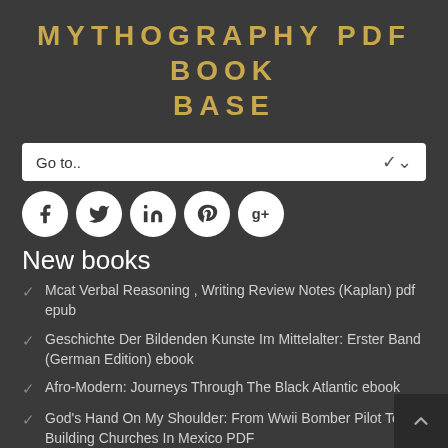MYTHOGRAPHY PDF BOOK BASE
Go to..
[Figure (infographic): Five social media icon circles: Facebook (f), Twitter (bird), LinkedIn (in), Pinterest (p), Google+ (g+)]
New books
Mcat Verbal Reasoning , Writing Review Notes (Kaplan) pdf epub
Geschichte Der Bildenden Kunste Im Mittelalter: Erster Band (German Edition) ebook
Afro-Modern: Journeys Through The Black Atlantic ebook
God's Hand On My Shoulder: From Wwii Bomber Pilot To Building Churches In Mexico PDF